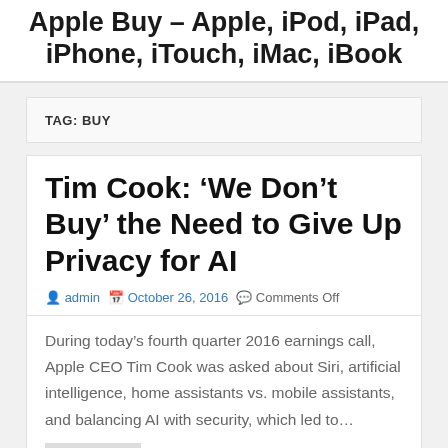Apple Buy – Apple, iPod, iPad, iPhone, iTouch, iMac, iBook
TAG: BUY
Tim Cook: ‘We Don’t Buy’ the Need to Give Up Privacy for AI
admin  October 26, 2016  Comments Off
During today’s fourth quarter 2016 earnings call, Apple CEO Tim Cook was asked about Siri, artificial intelligence, home assistants vs. mobile assistants, and balancing AI with security, which led to…
Read more